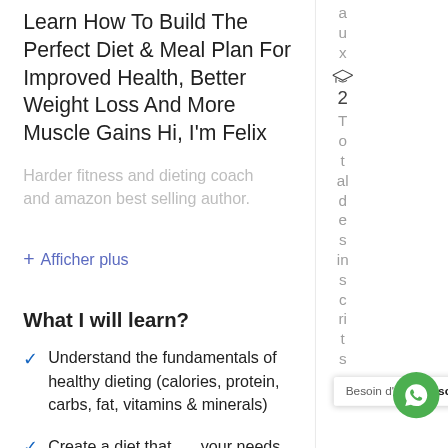Learn How To Build The Perfect Diet & Meal Plan For Improved Health, Better Weight Loss And More Muscle Gains Hi, I'm Felix
Harder fitness and dieting coach and amazon best selling author.
+ Afficher plus
What I will learn?
Understand the fundamentals of healthy dieting (calories, protein, carbs, fat, vitamins & minerals)
Create a diet that your needs and lifestyle
Besoin d'aide? Discute avec nous!